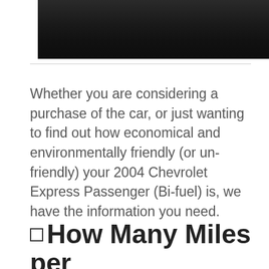[Figure (photo): Dark interior photo showing car dashboard/steering area, predominantly dark tones]
Whether you are considering a purchase of the car, or just wanting to find out how economical and environmentally friendly (or un-friendly) your 2004 Chevrolet Express Passenger (Bi-fuel) is, we have the information you need.
⬜ How Many Miles per Gallon (MPG) Does a